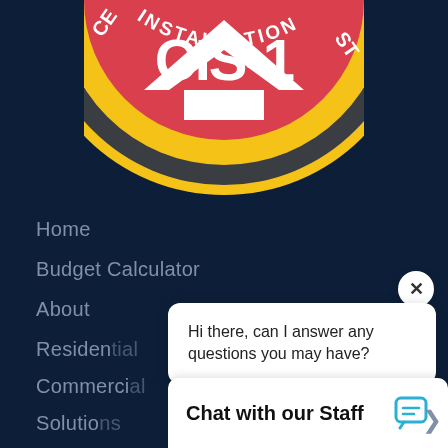[Figure (logo): CIS-1 Installation certification logo badge — circular badge with dark grey and yellow border rings, red center with white 'CIS-1' text, white chevron/arrow shape, and 'INSTALLATION' text along the bottom yellow band. Partially cropped at top.]
Home
Budget Calculator
About
Residential
Commercial
Solutions
Hi there, can I answer any questions you may have?
Chat with our Staff